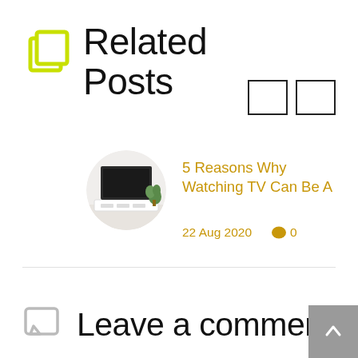Related Posts
[Figure (illustration): Blog post thumbnail showing a TV on a white media console with a plant]
5 Reasons Why Watching TV Can Be A
22 Aug 2020    0
Leave a comment